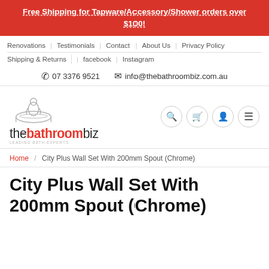Free Shipping for Tapware/Accessory/Shower orders over $100!
Renovations | Testimonials | Contact | About Us | Privacy Policy | Shipping & Returns | facebook | Instagram
07 3376 9521  info@thebathroombiz.com.au
[Figure (logo): The Bathroom Biz logo with penguin in bathtub illustration and tagline]
Breadcrumb: Home / City Plus Wall Set With 200mm Spout (Chrome)
City Plus Wall Set With 200mm Spout (Chrome)